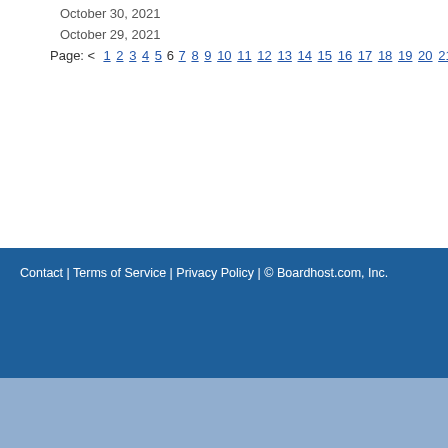October 30, 2021
October 29, 2021
Page: < 1 2 3 4 5 6 7 8 9 10 11 12 13 14 15 16 17 18 19 20 21 22 23 24 25 26 …
Contact | Terms of Service | Privacy Policy | © Boardhost.com, Inc.    Th…